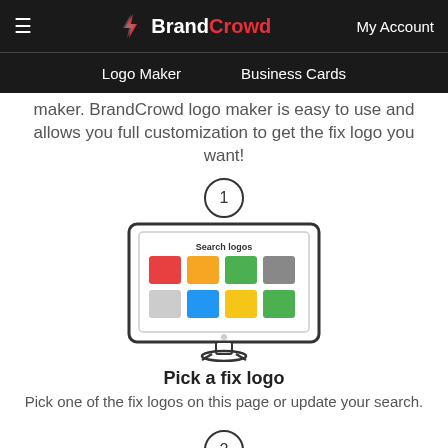BrandCrowd | My Account | Logo Maker | Business Cards
maker. BrandCrowd logo maker is easy to use and allows you full customization to get the fix logo you want!
[Figure (illustration): Step 1 circle with number, followed by illustration of a computer monitor showing a logo search interface with colored squares labeled 'Search logos']
Pick a fix logo
Pick one of the fix logos on this page or update your search.
[Figure (illustration): Step 2 circle with number 2]